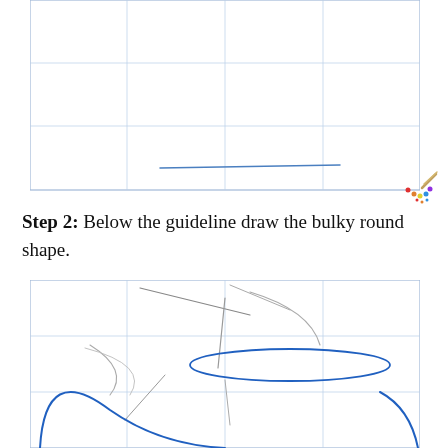[Figure (illustration): Top drawing panel showing a grid guideline sketch with blue construction lines forming a rectangular grid, and a single horizontal blue curved guideline line near the bottom of the panel.]
Step 2: Below the guideline draw the bulky round shape.
[Figure (illustration): Bottom drawing panel showing a grid sketch with blue construction lines, an oval/ellipse shape drawn in blue near the top-center, a large round bulky shape (partial circle arc) drawn in blue at the bottom, and gray sketch lines indicating drawing construction strokes.]